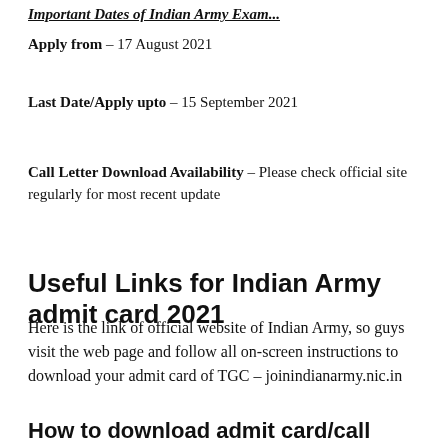Important Dates of Indian Army Exam...
Apply from – 17 August 2021
Last Date/Apply upto – 15 September 2021
Call Letter Download Availability – Please check official site regularly for most recent update
Useful Links for Indian Army admit card 2021
Here is the link of official website of Indian Army, so guys visit the web page and follow all on-screen instructions to download your admit card of TGC – joinindianarmy.nic.in
How to download admit card/call letter/hall